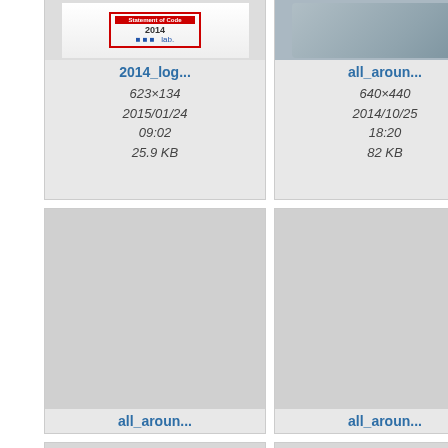[Figure (screenshot): File browser / media gallery grid showing image thumbnails with filenames, dimensions, dates, and file sizes. Partial top row, full middle row, and partial bottom row of cards.]
2014_log...
623×134
2015/01/24 09:02
25.9 KB
all_aroun...
640×440
2014/10/25 18:20
82 KB
all_
(truncated)
all_aroun...
640×440
2014/12/02 01:00
152.7 KB
all_aroun...
640×440
2014/12/02 01:00
36 KB
bu...
(truncated)